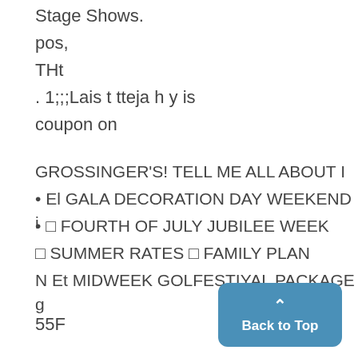Stage Shows.
pos,
THt
. 1;;;Lais t tteja h y is
coupon on
GROSSINGER'S! TELL ME ALL ABOUT I
• El GALA DECORATION DAY WEEKEND i
• □ FOURTH OF JULY JUBILEE WEEK
□ SUMMER RATES □ FAMILY PLAN
N Et MIDWEEK GOLFESTIYAL PACKAGE g
55F